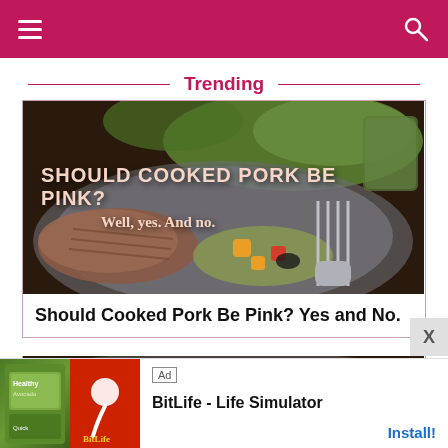Navigation bar with hamburger menu and search icon
Trending
[Figure (photo): Food photo showing sliced cooked pork with vegetable salad and a fork on a plate with overlay text reading SHOULD COOKED PORK BE PINK? Well, yes. And no.]
Should Cooked Pork Be Pink? Yes and No.
[Figure (photo): Partial peek of a second trending article card below]
Ad  BitLife - Life Simulator  Install!